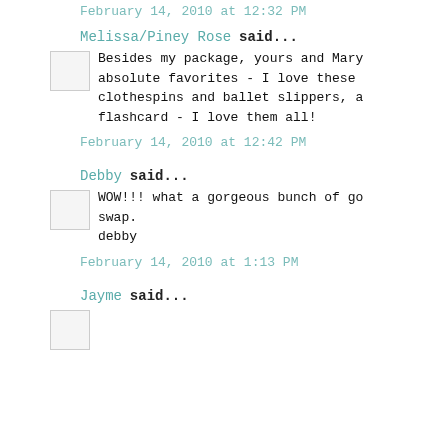February 14, 2010 at 12:32 PM
Melissa/Piney Rose said...
Besides my package, yours and Mary absolute favorites - I love these clothespins and ballet slippers, a flashcard - I love them all!
February 14, 2010 at 12:42 PM
Debby said...
WOW!!! what a gorgeous bunch of go swap.
debby
February 14, 2010 at 1:13 PM
Jayme said...